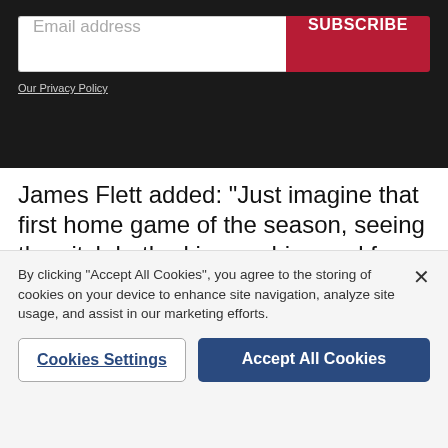[Figure (screenshot): Email subscription form with text input labeled 'Email address' and a red 'SUBSCRIBE' button on a dark background, with an 'Our Privacy Policy' link below.]
James Flett added: "Just imagine that first home game of the season, seeing the pitch bathed in sunshine and fans everywhere, goosebumps just thinking about it."
And one supporter was even looking forward to the
By clicking “Accept All Cookies”, you agree to the storing of cookies on your device to enhance site navigation, analyze site usage, and assist in our marketing efforts.
Cookies Settings
Accept All Cookies